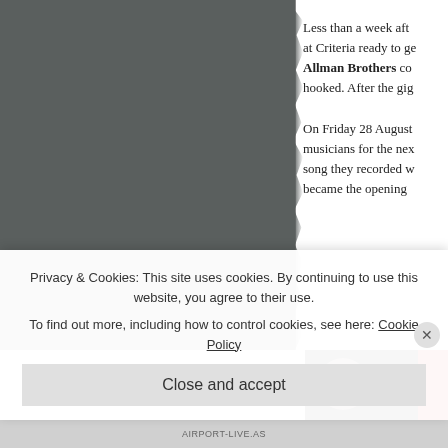[Figure (photo): A dark gray/slate colored image, likely a photograph with torn or rough right edge, occupying the left portion of the page]
Less than a week aft at Criteria ready to ge Allman Brothers co hooked. After the gig
On Friday 28 August musicians for the nex song they recorded w became the opening
[Figure (photo): Thumbnail image showing a dark circle with letter P on black background with a red strip on right, and text 'Dere' visible]
Privacy & Cookies: This site uses cookies. By continuing to use this website, you agree to their use.
To find out more, including how to control cookies, see here: Cookie Policy
Close and accept
AIRPORT-LIVE.AS